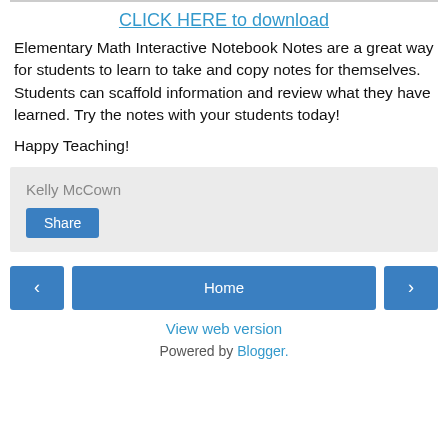CLICK HERE to download
Elementary Math Interactive Notebook Notes are a great way for students to learn to take and copy notes for themselves. Students can scaffold information and review what they have learned. Try the notes with your students today!
Happy Teaching!
Kelly McCown
Share
Home | View web version | Powered by Blogger.